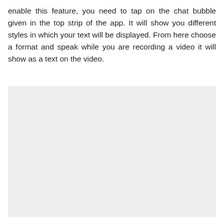enable this feature, you need to tap on the chat bubble given in the top strip of the app. It will show you different styles in which your text will be displayed. From here choose a format and speak while you are recording a video it will show as a text on the video.
[Figure (photo): A light gray placeholder image block, approximately rectangular, occupying the lower portion of the page.]